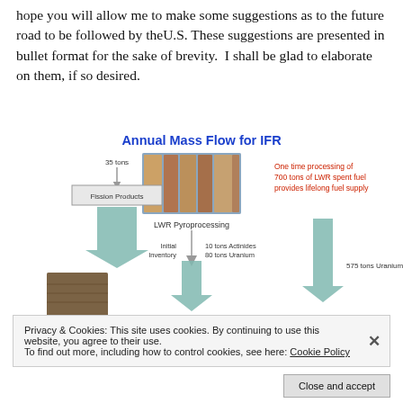hope you will allow me to make some suggestions as to the future road to be followed by theU.S. These suggestions are presented in bullet format for the sake of brevity.  I shall be glad to elaborate on them, if so desired.
[Figure (infographic): Annual Mass Flow for IFR diagram showing LWR Pyroprocessing flow: 35 tons Fission Products going to Disposal (300 years), Initial Inventory of 10 tons Actinides and 80 tons Uranium feeding 1000 MWe reactor, 575 tons Uranium output. Red text: One time processing of 700 tons of LWR spent fuel provides lifelong fuel supply.]
Privacy & Cookies: This site uses cookies. By continuing to use this website, you agree to their use.
To find out more, including how to control cookies, see here: Cookie Policy